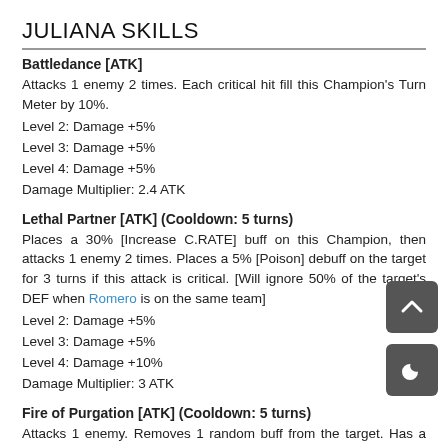JULIANA SKILLS
Battledance [ATK]
Attacks 1 enemy 2 times. Each critical hit fill this Champion's Turn Meter by 10%.
Level 2: Damage +5%
Level 3: Damage +5%
Level 4: Damage +5%
Damage Multiplier: 2.4 ATK
Lethal Partner [ATK] (Cooldown: 5 turns)
Places a 30% [Increase C.RATE] buff on this Champion, then attacks 1 enemy 2 times. Places a 5% [Poison] debuff on the target for 3 turns if this attack is critical. [Will ignore 50% of the target's DEF when Romero is on the same team]
Level 2: Damage +5%
Level 3: Damage +5%
Level 4: Damage +10%
Damage Multiplier: 3 ATK
Fire of Purgation [ATK] (Cooldown: 5 turns)
Attacks 1 enemy. Removes 1 random buff from the target. Has a 75% chance of placing a [HP Burn] debuff for 3 turns.
Level 2: Damage +10%
Level 3: Damage +10%
Level 4: Buff/Debuff Chance +5%